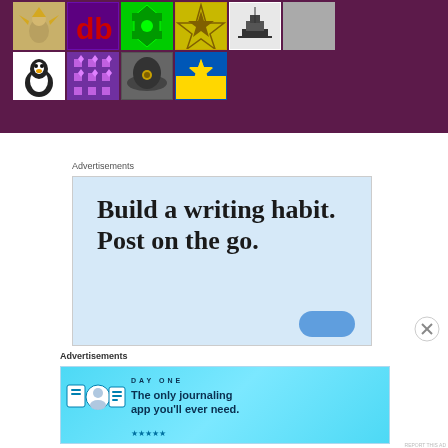[Figure (screenshot): Website screenshot showing a dark purple banner with a grid of user avatar images, followed by two advertisement sections below]
Advertisements
[Figure (infographic): Large advertisement with light blue background reading 'Build a writing habit. Post on the go.' with a partially visible button]
Advertisements
[Figure (infographic): Day One journaling app advertisement banner: 'The only journaling app you'll ever need.']